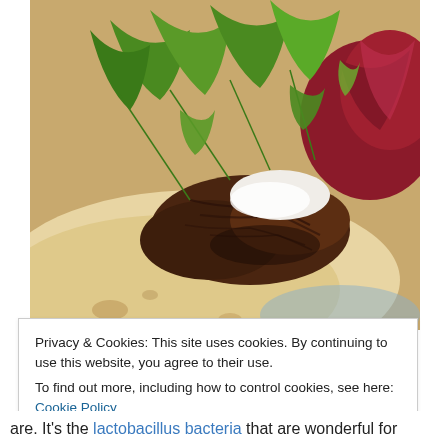[Figure (photo): Close-up photo of a flatbread wrap/sandwich filled with shredded braised meat, fresh rocket/arugula leaves, white cream or mozzarella, and red/purple beets or radicchio, served on a white plate.]
Privacy & Cookies: This site uses cookies. By continuing to use this website, you agree to their use.
To find out more, including how to control cookies, see here: Cookie Policy
Close and accept
are. It's the lactobacillus bacteria that are wonderful for